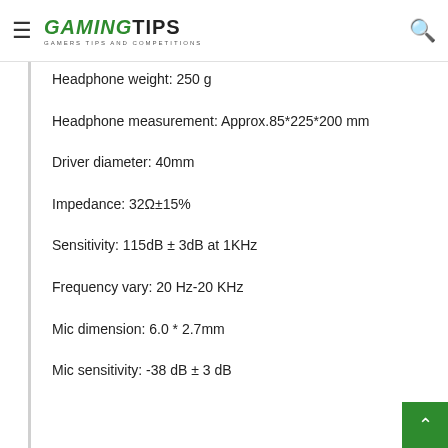GAMINGTIPS - GAMERS TIPS AND COMPETITIONS
Headphone weight: 250 g
Headphone measurement: Approx.85*225*200 mm
Driver diameter: 40mm
Impedance: 32Ω±15%
Sensitivity: 115dB ± 3dB at 1KHz
Frequency vary: 20 Hz-20 KHz
Mic dimension: 6.0 * 2.7mm
Mic sensitivity: -38 dB ± 3 dB